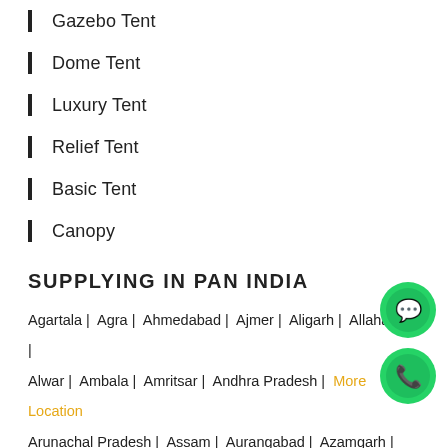Gazebo Tent
Dome Tent
Luxury Tent
Relief Tent
Basic Tent
Canopy
SUPPLYING IN PAN INDIA
Agartala | Agra | Ahmedabad | Ajmer | Aligarh | Allahabad | Alwar | Ambala | Amritsar | Andhra Pradesh | More Location Arunachal Pradesh | Assam | Aurangabad | Azamgarh |